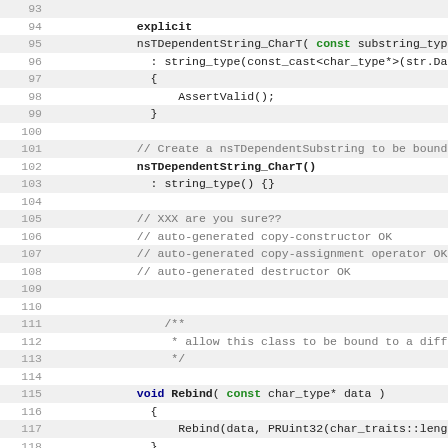[Figure (screenshot): Source code listing showing C++ class constructor and method definitions for nsTDependentString_CharT, lines 93-124, with line numbers on the left, alternating gray/white row backgrounds, and syntax highlighting (bold for keywords, green for 'const', blue/bold for 'void' and 'bold').]